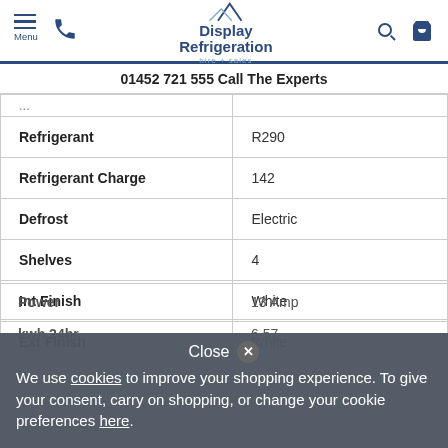Display Refrigeration hire + sales — 01452 721 555 Call The Experts
|  |  |
| --- | --- |
| Refrigerant | R290 |
| Refrigerant Charge | 142 |
| Defrost | Electric |
| Shelves | 4 |
| Int Finish | White |
| Ext Finish | White |
| Power | 13 Amp |
| kwh 24hr | 6.57 |
Close ✕ We use cookies to improve your shopping experience. To give your consent, carry on shopping, or change your cookie preferences here.